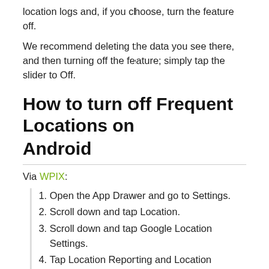location logs and, if you choose, turn the feature off.
We recommend deleting the data you see there, and then turning off the feature; simply tap the slider to Off.
How to turn off Frequent Locations on Android
Via WPIX:
Open the App Drawer and go to Settings.
Scroll down and tap Location.
Scroll down and tap Google Location Settings.
Tap Location Reporting and Location History, and switch the slider to off for each one.
To delete your phone's location cache, tap “Delete Location History” at the bottom of the screen under Location History.
Repeat this process for each Google Account you have on your Android device.
As goes with iPhone users, Android users should also take a